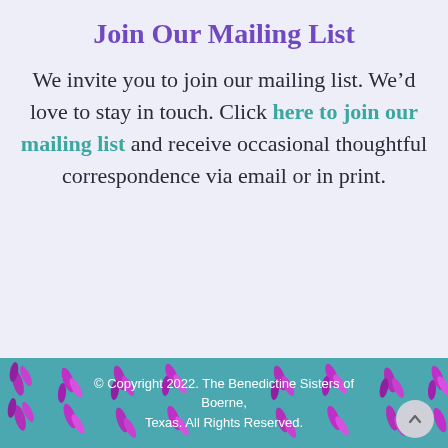Join Our Mailing List
We invite you to join our mailing list. We’d love to stay in touch. Click here to join our mailing list and receive occasional thoughtful correspondence via email or in print.
© Copyright 2022. The Benedictine Sisters of Boerne, Texas. All Rights Reserved.